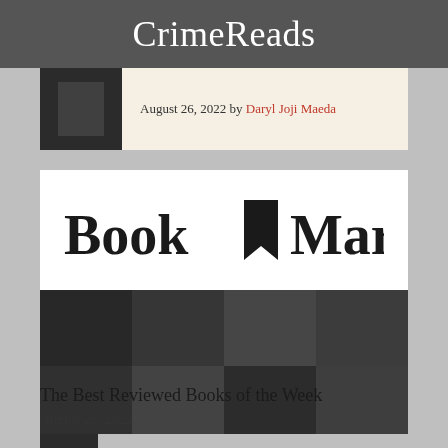CrimeReads
August 26, 2022 by Daryl Joji Maeda
[Figure (logo): Book Marks logo with bookmark icon between 'Book' and 'Marks' text, followed by a 4x2 grid of dark gray image thumbnails]
The Best Reviewed Books of the Week
August 26, 2022